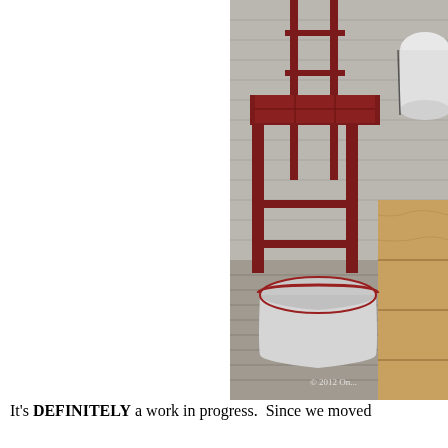[Figure (photo): A photograph of a porch scene featuring a dark red/maroon wooden step stool or small table, a white enamel basin with red trim sitting beneath it on weathered wooden floorboards, a wooden crate or chest to the right, a white enamel pot in the upper right, and white painted wooden siding in the background. A copyright watermark '© 2012 On...' appears in the lower right corner.]
It's DEFINITELY a work in progress.  Since we moved